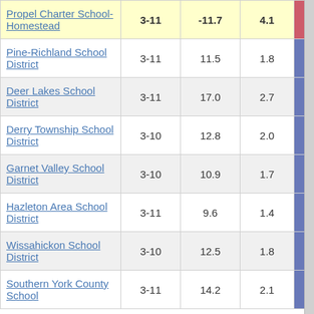| School/District | Grades | % Change | Points | Score |
| --- | --- | --- | --- | --- |
| Propel Charter School-Homestead | 3-11 | -11.7 | 4.1 | -2.84 |
| Pine-Richland School District | 3-11 | 11.5 | 1.8 | 6.31 |
| Deer Lakes School District | 3-11 | 17.0 | 2.7 | 6.32 |
| Derry Township School District | 3-10 | 12.8 | 2.0 | 6.39 |
| Garnet Valley School District | 3-10 | 10.9 | 1.7 | 6.53 |
| Hazleton Area School District | 3-11 | 9.6 | 1.4 | 6.77 |
| Wissahickon School District | 3-10 | 12.5 | 1.8 | 6.85 |
| Southern York County School | 3-11 | 14.2 | 2.1 | 6.91 |